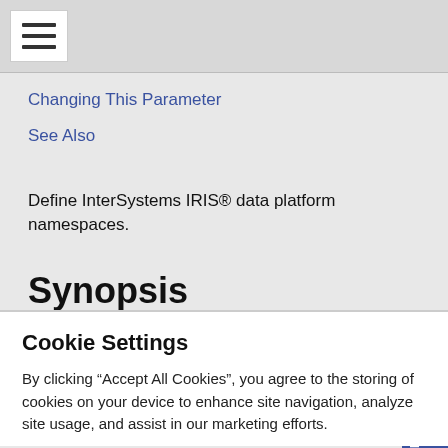Changing This Parameter
See Also
Define InterSystems IRIS® data platform namespaces.
Synopsis
[Namespaces]    Name=globals,routines,t
Cookie Settings
By clicking “Accept All Cookies”, you agree to the storing of cookies on your device to enhance site navigation, analyze site usage, and assist in our marketing efforts.